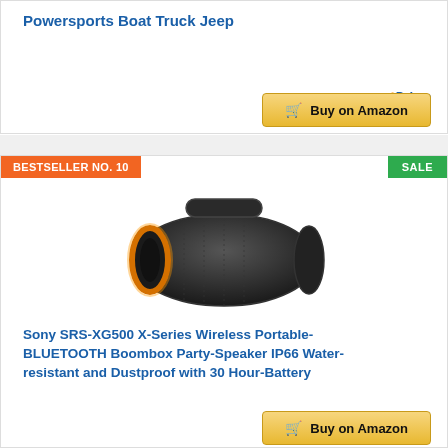Powersports Boat Truck Jeep
[Figure (other): Amazon Prime checkmark logo with 'Prime' text in blue italic]
[Figure (other): Yellow 'Buy on Amazon' button with cart icon]
BESTSELLER NO. 10
SALE
[Figure (photo): Sony SRS-XG500 portable Bluetooth speaker in black with orange ring accent, cylindrical shape with handle]
Sony SRS-XG500 X-Series Wireless Portable-BLUETOOTH Boombox Party-Speaker IP66 Water-resistant and Dustproof with 30 Hour-Battery
[Figure (other): Amazon Prime checkmark logo with 'Prime' text in blue italic]
[Figure (other): Yellow 'Buy on Amazon' button with cart icon (partially visible)]